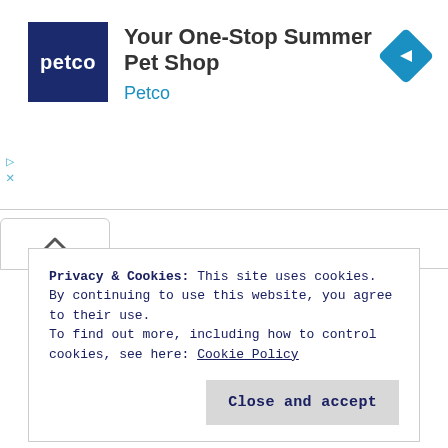[Figure (screenshot): Petco advertisement banner: Petco logo (dark blue square with 'petco' in white), headline 'Your One-Stop Summer Pet Shop', brand name 'Petco' in blue, and a blue diamond navigation icon on the right. Play and X icons on the left side.]
Privacy & Cookies: This site uses cookies. By continuing to use this website, you agree to their use.
To find out more, including how to control cookies, see here: Cookie Policy
Close and accept